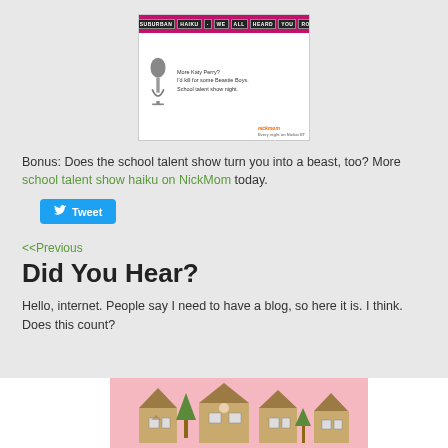[Figure (illustration): Suburban Haiku NickMom illustration with a microphone and text: More Katy Perry? I'd kill for some Beastie Boys. School talent show night.]
Bonus: Does the school talent show turn you into a beast, too? More school talent show haiku on NickMom today.
[Figure (infographic): Tweet button with Twitter bird icon]
<<Previous
Did You Hear?
Hello, internet. People say I need to have a blog, so here it is. I think. Does this count?
[Figure (illustration): Cartoon illustration of suburban houses on a pink/peach background, partially visible at bottom of page.]